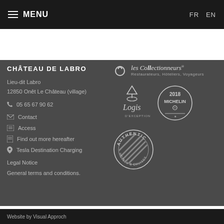≡ MENU    FR  EN
CHÂTEAU DE LABRO
Lieu-dit Labro
12850 Onêt Le Château (village)
☎  05 65 67 90 62
✉  Contact
⊞  Access
⧉  Find out more hereafter
📍  Tesla Destination Charging
Legal Notice
General terms and conditions.
[Figure (logo): les Collectionneurs logo with Ω symbol, subtitle: Restaurateurs, Hôteliers, Voyageurs]
[Figure (logo): Les Logis d'Exception logo]
[Figure (logo): 2018 Michelin circular badge]
[Figure (logo): Authentic Hotels & Cruises circular badge]
Website by Visual Approch